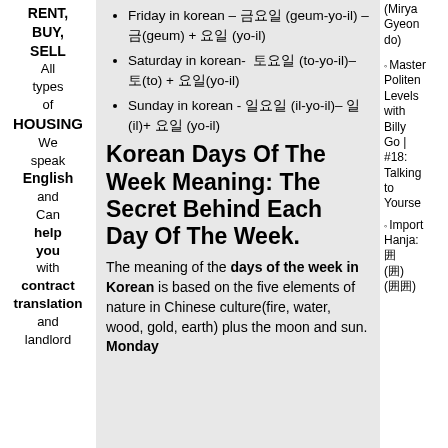RENT, BUY, SELL All types of HOUSING We speak English and Can help you with contract translation and landlord
Friday in korean – 금요일 (geum-yo-il) – 금(geum) + 요일 (yo-il)
Saturday in korean- 토요일 (to-yo-il)– 토(to) + 요일(yo-il)
Sunday in korean - 일요일 (il-yo-il)– 일(il)+ 요일 (yo-il)
Korean Days Of The Week Meaning: The Secret Behind Each Day Of The Week.
The meaning of the days of the week in Korean is based on the five elements of nature in Chinese culture(fire, water, wood, gold, earth) plus the moon and sun. Monday
(Mirya Gyeondo)
Master Politeness Levels with Billy Go | #18: Talking to Yourself
Import Hanja: 囲 (囲) (囲囲)